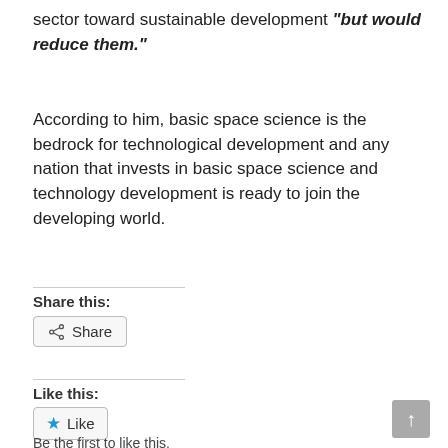sector toward sustainable development “but would reduce them.”
According to him, basic space science is the bedrock for technological development and any nation that invests in basic space science and technology development is ready to join the developing world.
Share this:
Share
Like this:
Like
Be the first to like this.